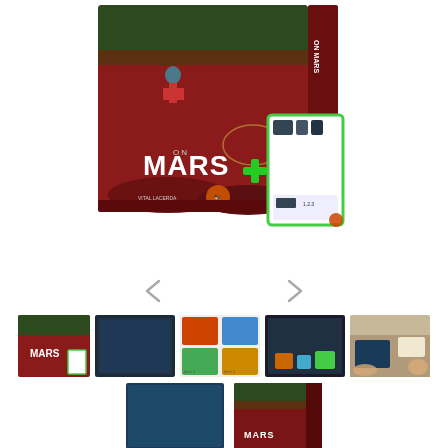[Figure (photo): Main product image of the 'On Mars' board game box with an expansion card showing a green plus sign, displayed against white background. The box art features astronauts on a red Martian landscape.]
[Figure (photo): Navigation arrows (left and right chevrons) for image carousel]
[Figure (photo): Thumbnail row 1: 5 small product images showing the board game box, game board components, game cards, gameplay setup, and game in play]
[Figure (photo): Thumbnail row 2: 2 additional product images showing game board close-up and product box alternate view]